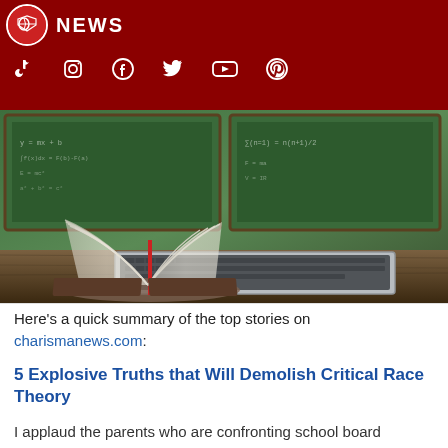NEWS
[Figure (photo): An open book with pages fanning in the air placed on top of a laptop keyboard, set on a wooden desk in a classroom with green chalkboards in the background.]
Here's a quick summary of the top stories on charismanews.com:
5 Explosive Truths that Will Demolish Critical Race Theory
I applaud the parents who are confronting school board members and passionately